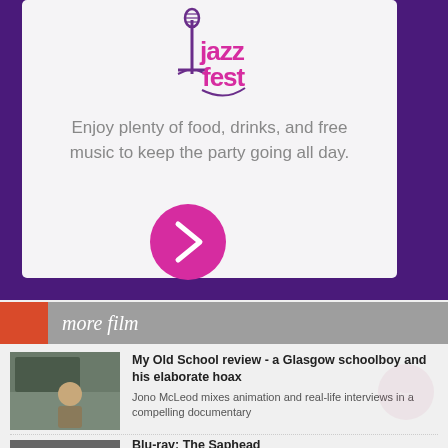[Figure (logo): Jazz Fest logo with musical note and text in pink/magenta on light background]
Enjoy plenty of food, drinks, and free music to keep the party going all day.
[Figure (illustration): Magenta circle button with right-pointing chevron arrow]
more film
[Figure (photo): Thumbnail photo of a man for My Old School review article]
My Old School review - a Glasgow schoolboy and his elaborate hoax
Jono McLeod mixes animation and real-life interviews in a compelling documentary
Blu-ray: The Saphead